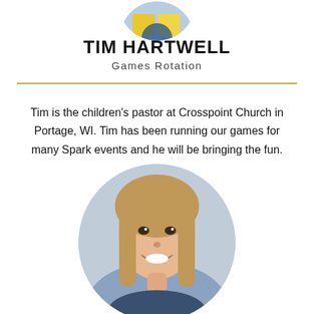[Figure (photo): Circular cropped photo of Tim Hartwell at top of card, partially cut off]
TIM HARTWELL
Games Rotation
Tim is the children's pastor at Crosspoint Church in Portage, WI. Tim has been running our games for many Spark events and he will be bringing the fun.
[Figure (photo): Circular cropped photo of a smiling young woman with long blonde hair, partially cropped at bottom of card]